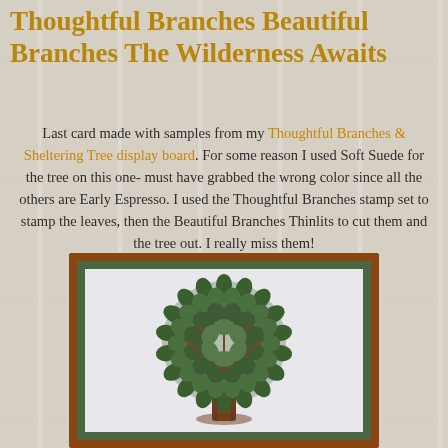Thoughtful Branches Beautiful Branches The Wilderness Awaits
Last card made with samples from my Thoughtful Branches & Sheltering Tree display board. For some reason I used Soft Suede for the tree on this one- must have grabbed the wrong color since all the others are Early Espresso. I used the Thoughtful Branches stamp set to stamp the leaves, then the Beautiful Branches Thinlits to cut them and the tree out. I really miss them!
[Figure (photo): A handmade greeting card with a brown outer border, green inner mat, and white card base featuring a decorative tree made of layered green leaf shapes forming a round canopy above a brown trunk.]